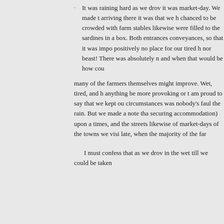It was raining hard as we drove into the town, and it was market-day. We made the discovery on arriving there it was that we had chanced to be crowded with farm conveyances; the stables likewise were filled to the brim—packed like sardines in a box. Both entrances were blocked with conveyances, so that it was impossible to get in; and positively no place for our tired horses, for man nor beast! There was absolutely no telling when, and when that would be how could we tell?
many of the farmers themselves were hoping it might improve. Wet, tired, and hungry—could anything be more provoking or trying? Well, I am proud to say that we kept our tempers; for the circumstances was nobody's fault—not even the rain. But we made a note that (for the purpose of securing accommodation) upon arriving at any town times, and the streets likewise of market-days of the towns we visited; and to arrive late, when the majority of the farmers had gone.
I must confess that as we drove about standing in the wet till we could be taken